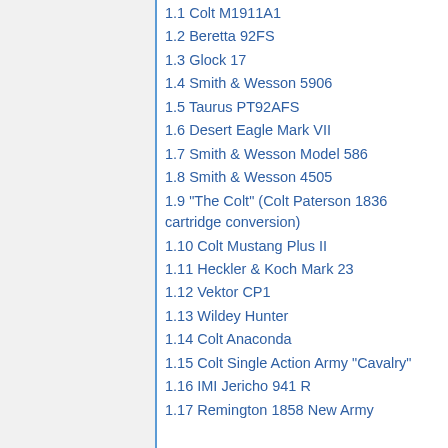1.1 Colt M1911A1
1.2 Beretta 92FS
1.3 Glock 17
1.4 Smith & Wesson 5906
1.5 Taurus PT92AFS
1.6 Desert Eagle Mark VII
1.7 Smith & Wesson Model 586
1.8 Smith & Wesson 4505
1.9 "The Colt" (Colt Paterson 1836 cartridge conversion)
1.10 Colt Mustang Plus II
1.11 Heckler & Koch Mark 23
1.12 Vektor CP1
1.13 Wildey Hunter
1.14 Colt Anaconda
1.15 Colt Single Action Army "Cavalry"
1.16 IMI Jericho 941 R
1.17 Remington 1858 New Army
[Figure (screenshot): Seamless food delivery advertisement banner with pizza image, Seamless logo, and ORDER NOW button]